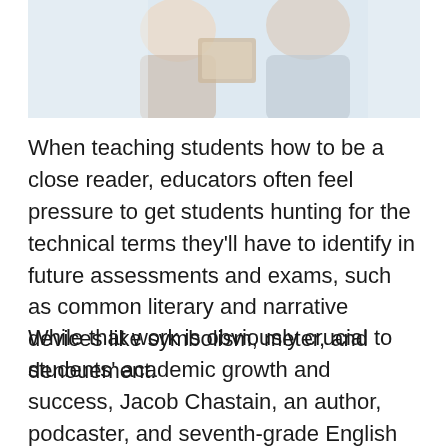[Figure (photo): Blurred/cropped photo of two people, one appears to be a teacher or adult holding a picture frame, light background with soft colors]
When teaching students how to be a close reader, educators often feel pressure to get students hunting for the technical terms they'll have to identify in future assessments and exams, such as common literary and narrative devices like symbolism, meter, and denouement.
While that work is obviously crucial to students' academic growth and success, Jacob Chastain, an author, podcaster, and seventh-grade English teacher in Fort Worth, Texas, writes in Middleweb [external link icon], it